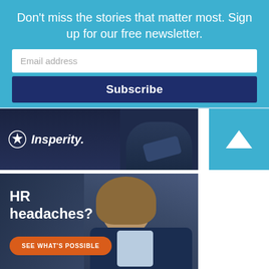Don't miss the stories that matter most. Sign up for our free newsletter.
Email address
Subscribe
[Figure (photo): Insperity advertisement banner showing a person in business attire with Insperity logo and a blue scroll-up button]
[Figure (photo): Insperity advertisement showing a professional woman in navy blazer with text 'HR headaches?' and orange 'SEE WHAT'S POSSIBLE' button and Insperity logo at bottom]